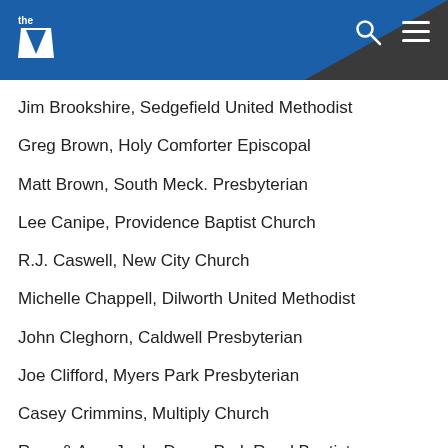the YMCA
Jim Brookshire, Sedgefield United Methodist
Greg Brown, Holy Comforter Episcopal
Matt Brown, South Meck. Presbyterian
Lee Canipe, Providence Baptist Church
R.J. Caswell, New City Church
Michelle Chappell, Dilworth United Methodist
John Cleghorn, Caldwell Presbyterian
Joe Clifford, Myers Park Presbyterian
Casey Crimmins, Multiply Church
Russ & Amy Jacks Dean, Park Road Baptist
David Docusen, Docusen Ministries
Chip Edens, Christ Episcopal